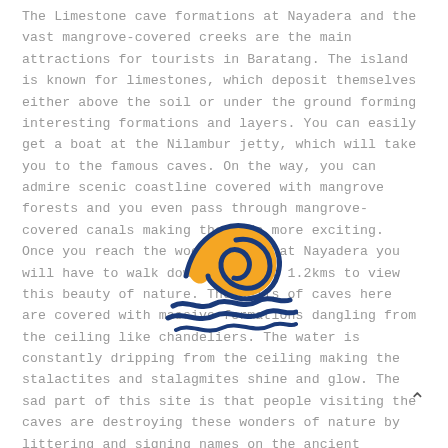The Limestone cave formations at Nayadera and the vast mangrove-covered creeks are the main attractions for tourists in Baratang. The island is known for limestones, which deposit themselves either above the soil or under the ground forming interesting formations and layers. You can easily get a boat at the Nilambur jetty, which will take you to the famous caves. On the way, you can admire scenic coastline covered with mangrove forests and you even pass through mangrove-covered canals making the ride more exciting.
Once you reach the wooden jetty at Nayadera you will have to walk down for about 1.2kms to view this beauty of nature. The walls of caves here are covered with massive formations dangling from the ceiling like chandeliers. The water is constantly dripping from the ceiling making the stalactites and stalagmites shine and glow. The sad part of this site is that people visiting the caves are destroying these wonders of nature by littering and signing names on the ancient formations.
[Figure (illustration): An emoji-style ocean wave icon with a golden/yellow curling wave crest and dark blue wavy water lines at the base.]